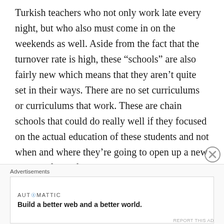Turkish teachers who not only work late every night, but who also must come in on the weekends as well. Aside from the fact that the turnover rate is high, these “schools” are also fairly new which means that they aren’t quite set in their ways. There are no set curriculums or curriculums that work. These are chain schools that could do really well if they focused on the actual education of these students and not when and where they’re going to open up a new school. If they focused their time, energy, and money on a school (and with the amount of money these schools have) the kids would flourish. The children that I taught have so much potential and I hope that it
[Figure (other): Close/dismiss button (circle with X) in the bottom-right of the text area]
Advertisements
[Figure (logo): Automattic logo and tagline: AUT⊙MATTIC — Build a better web and a better world.]